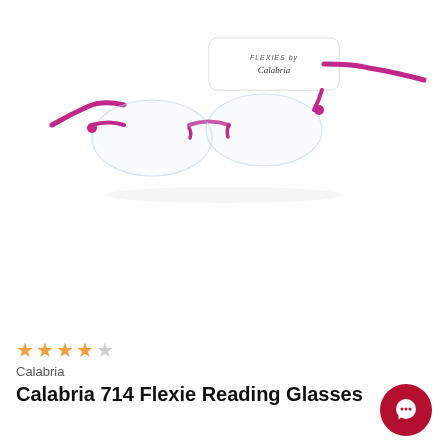[Figure (photo): Product photo of Calabria 714 Flexie Reading Glasses in pink/magenta color, rimless lenses, with a white rectangular carrying case labeled 'FLEXIES by Calabria'. The glasses have pink flexible temple arms and sit in front of the white case on a white background.]
★★★★☆
Calabria
Calabria 714 Flexie Reading Glasses